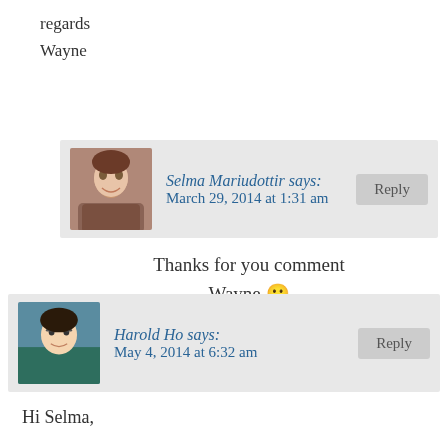regards
Wayne
[Figure (photo): Avatar photo of Selma Mariudottir, a woman smiling]
Selma Mariudottir says: March 29, 2014 at 1:31 am
Reply
Thanks for you comment
Wayne 🙂
[Figure (photo): Avatar photo of Harold Ho, a man with glasses]
Harold Ho says: May 4, 2014 at 6:32 am
Reply
Hi Selma,
Thanks for your recommendations, will install those that I have not. Good Post